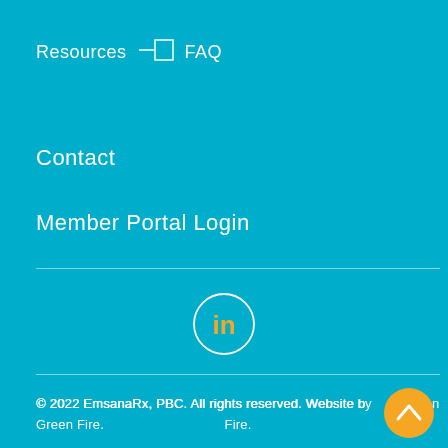Resources — FAQ
Contact
Member Portal Login
[Figure (logo): LinkedIn circle icon with orange 'in' text on cyan background]
© 2022 EmsanaRx, PBC. All rights reserved. Website by Green Fire.